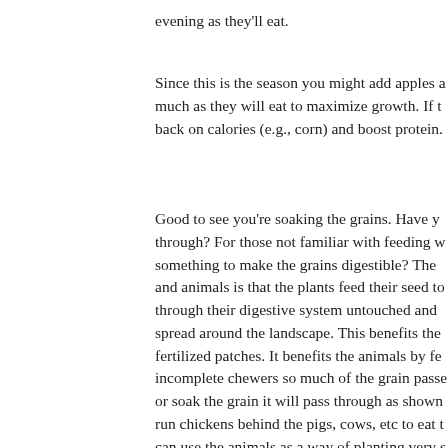evening as they'll eat.
Since this is the season you might add apples as much as they will eat to maximize growth. If they back on calories (e.g., corn) and boost protein.
Good to see you're soaking the grains. Have you through? For those not familiar with feeding w something to make the grains digestible? The and animals is that the plants feed their seed to through their digestive system untouched and spread around the landscape. This benefits the fertilized patches. It benefits the animals by fe incomplete chewers so much of the grain passe or soak the grain it will pass through as shown run chickens behind the pigs, cows, etc to eat can use the animals as a way of planting very s etc.